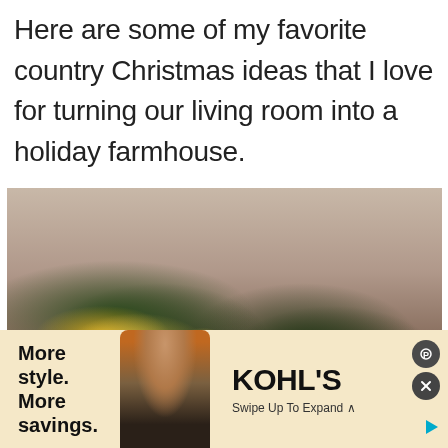Here are some of my favorite country Christmas ideas that I love for turning our living room into a holiday farmhouse.
[Figure (photo): A dark, warmly lit photo of Christmas trees with bokeh golden lights in an indoor setting]
[Figure (infographic): Kohl's advertisement banner with text 'More style. More savings.' alongside a woman in a green jacket and yellow top, with the Kohl's logo and 'Swipe Up To Expand' call to action on a warm cream background]